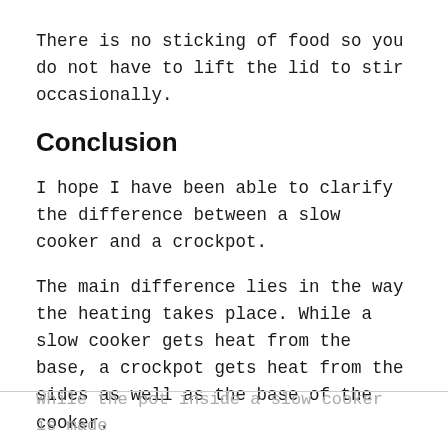There is no sticking of food so you do not have to lift the lid to stir occasionally.
Conclusion
I hope I have been able to clarify the difference between a slow cooker and a crockpot.
The main difference lies in the way the heating takes place. While a slow cooker gets heat from the base, a crockpot gets heat from the sides as well as the base of the cooker.
While the pot inside a slow cooker is made